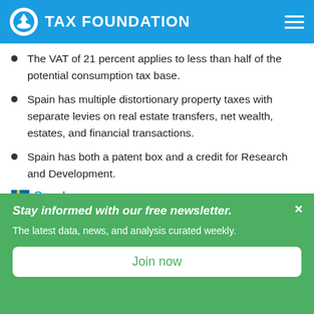TAX FOUNDATION
The VAT of 21 percent applies to less than half of the potential consumption tax base.
Spain has multiple distortionary property taxes with separate levies on real estate transfers, net wealth, estates, and financial transactions.
Spain has both a patent box and a credit for Research and Development.
Sweden
Stay informed with our free newsletter.
The latest data, news, and analysis curated weekly.
Join now